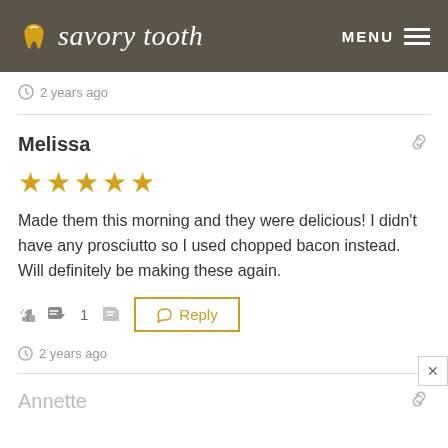savory tooth  MENU
2 years ago
Melissa
[Figure (other): 5 gold stars rating]
Made them this morning and they were delicious! I didn’t have any prosciutto so I used chopped bacon instead. Will definitely be making these again.
1  Reply
2 years ago
Annette